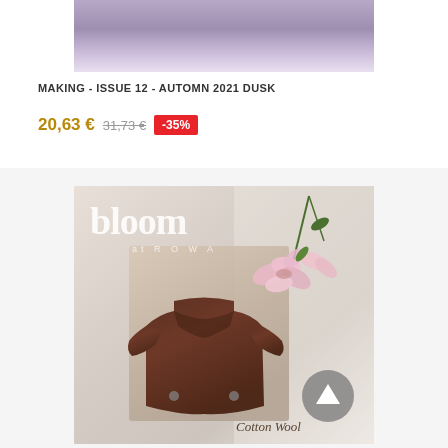[Figure (photo): Top portion of a product photo showing a purple/lavender textured background, partially cropped]
MAKING - ISSUE 12 - AUTOMN 2021 DUSK
20,63 € 31,73 € -35%
[Figure (photo): Book cover of 'bloom at ROWAN' showing a brown knitted baby kimono sweater on a linen background with pink flowers and text 'Cotton Wool']